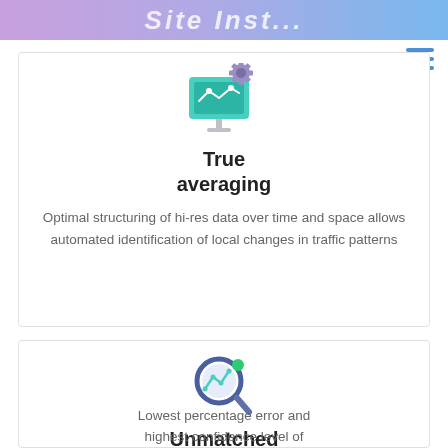[Figure (illustration): Gradient banner at top with partial text 'Site Inst...' in white italic bold letters]
[Figure (illustration): Hamburger menu icon (three horizontal blue lines) in top right corner]
[Figure (illustration): Icon of a teal/cyan computer monitor with gear symbol representing site management or automation]
True averaging
Optimal structuring of hi-res data over time and space allows automated identification of local changes in traffic patterns
[Figure (illustration): Icon of a magnifying glass with a line chart inside and a green dot, representing analytics or accuracy]
Unmatched accuracy
Lowest percentage error and highest confidence level of